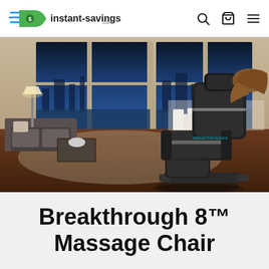instant-savings.com
[Figure (photo): Luxury living room with hardwood floors, modern furniture, floor-to-ceiling windows overlooking a city skyline at dusk. A black leather Breakthrough 8 massage chair is prominently placed in the foreground right, with a woman reclining in it. The room has warm wood tones, a glass coffee table with flowers, and a dining area in the background.]
Breakthrough 8™ Massage Chair